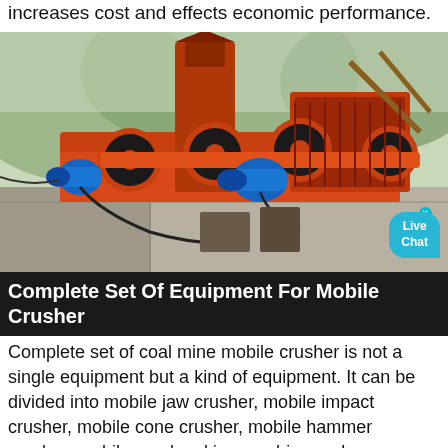increases cost and effects economic performance.
[Figure (photo): Industrial coal mine mobile crusher equipment with orange rollers, black wheels, blue electric motors, mounted on a concrete platform, with green forested hills in the background. A 'Live Chat' bubble is overlaid in the bottom-right corner.]
Complete Set Of Equipment For Mobile Crusher
Complete set of coal mine mobile crusher is not a single equipment but a kind of equipment. It can be divided into mobile jaw crusher, mobile impact crusher, mobile cone crusher, mobile hammer crusher, mobile sand making machine and so on according to the different equipments